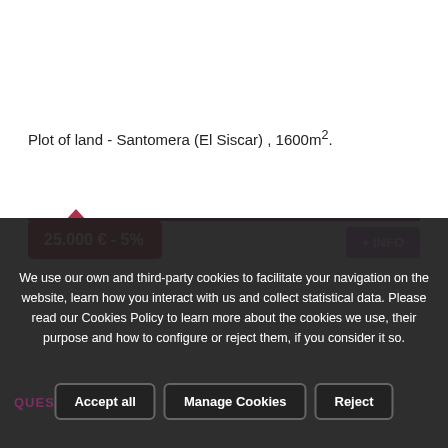Plot of land - Santomera (El Siscar) , 1600m².
25.000 € - 5%
+ INFO
We use our own and third-party cookies to facilitate your navigation on the website, learn how you interact with us and collect statistical data. Please read our Cookies Policy to learn more about the cookies we use, their purpose and how to configure or reject them, if you consider it so.
QUESTION?
Accept all
Manage Cookies
Reject